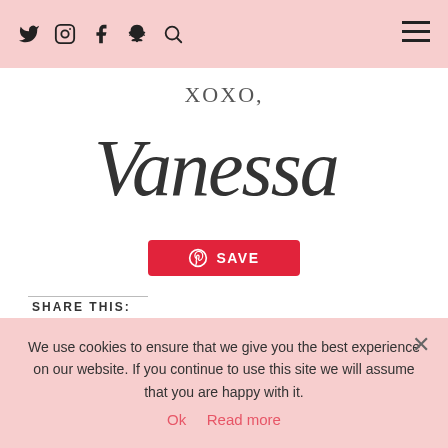Social media navigation icons and hamburger menu
XOXO,
[Figure (illustration): Cursive calligraphy signature reading 'Vanessa']
[Figure (other): Red Pinterest SAVE button with circular P icon]
SHARE THIS:
Twitter  Facebook
We use cookies to ensure that we give you the best experience on our website. If you continue to use this site we will assume that you are happy with it.
Ok  Read more